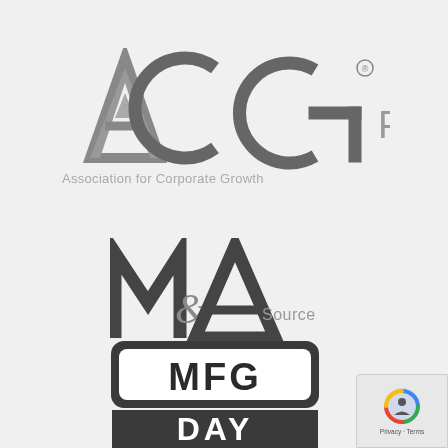[Figure (logo): ACG Philadelphia logo — large stylized letters ACG with registered trademark symbol, followed by 'Philadelphia' in gray sans-serif. Below: 'Association for Corporate Growth' in smaller gray text.]
[Figure (logo): M&A Source logo — stylized M and A letters with ampersand and the word 'Source' in gray, with a horizontal rule beneath.]
[Figure (logo): MFG DAY logo — bold block letters with industrial styling, partially visible at bottom of page.]